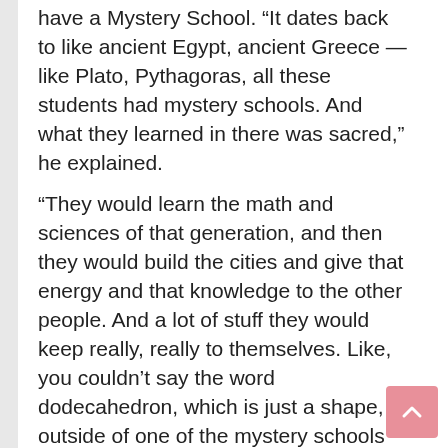have a Mystery School. “It dates back to like ancient Egypt, ancient Greece — like Plato, Pythagoras, all these students had mystery schools. And what they learned in there was sacred,” he explained.
“They would learn the math and sciences of that generation, and then they would build the cities and give that energy and that knowledge to the other people. And a lot of stuff they would keep really, really to themselves. Like, you couldn’t say the word dodecahedron, which is just a shape, outside of one of the mystery schools or they would, like, kill you or whatever. Because it was such a sacred shape.”The siblings are also “scientists,” according to Jaden. “So everything for us is a scientific test upon humanity,” he said. “And luckily we’re put